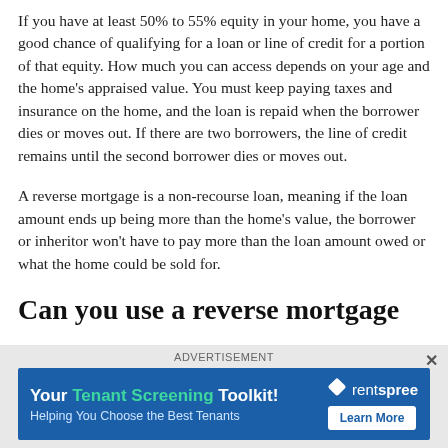If you have at least 50% to 55% equity in your home, you have a good chance of qualifying for a loan or line of credit for a portion of that equity. How much you can access depends on your age and the home's appraised value. You must keep paying taxes and insurance on the home, and the loan is repaid when the borrower dies or moves out. If there are two borrowers, the line of credit remains until the second borrower dies or moves out.
A reverse mortgage is a non-recourse loan, meaning if the loan amount ends up being more than the home's value, the borrower or inheritor won't have to pay more than the loan amount owed or what the home could be sold for.
Can you use a reverse mortgage to...
[Figure (infographic): Advertisement banner for rentspree Tenant Screening Toolkit with blue background, showing 'Your Tenant Screening Toolkit!' text with rentspree logo and 'Learn More' button]